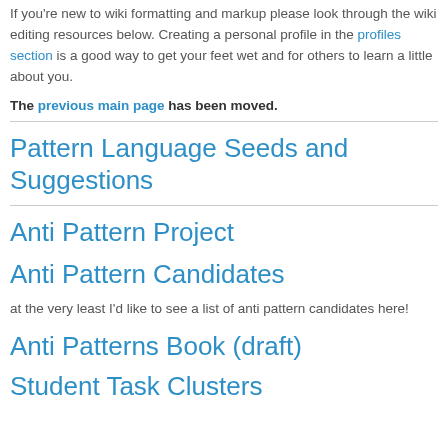If you're new to wiki formatting and markup please look through the wiki editing resources below. Creating a personal profile in the profiles section is a good way to get your feet wet and for others to learn a little about you.
The previous main page has been moved.
Pattern Language Seeds and Suggestions
Anti Pattern Project
Anti Pattern Candidates
at the very least I'd like to see a list of anti pattern candidates here!
Anti Patterns Book (draft)
Student Task Clusters